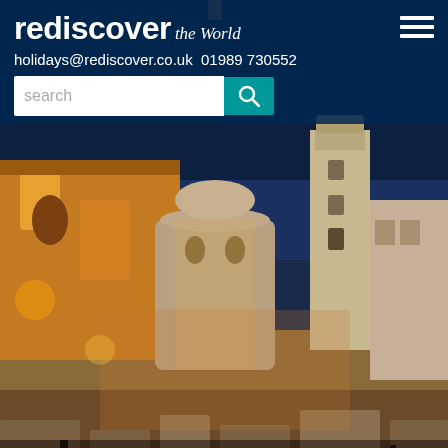rediscover the World — holidays@rediscover.co.uk 01989 730552
[Figure (screenshot): A night-time photo of Hvar Island / Zadar old town showing illuminated historic buildings, a round church, a tall bell tower, and ancient Roman ruins in the foreground under a dark blue sky]
Hvar Island
Overview | Tours & Activities | Hotels | Reviews
Scroll right
You are here: Home > Destinations > Croatia > Adriatic Islands > Hvar Island